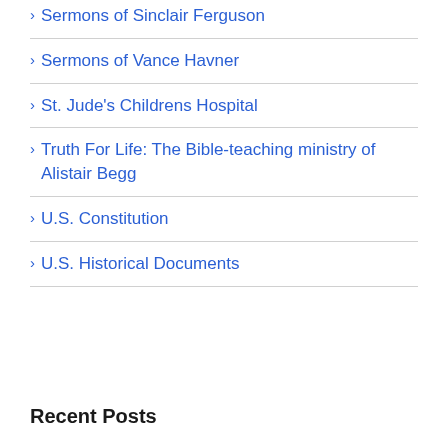Sermons of Sinclair Ferguson
Sermons of Vance Havner
St. Jude's Childrens Hospital
Truth For Life: The Bible-teaching ministry of Alistair Begg
U.S. Constitution
U.S. Historical Documents
Recent Posts